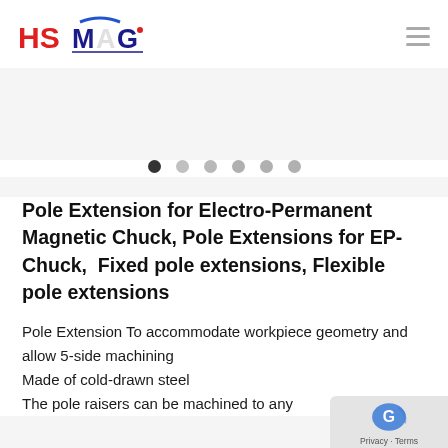HSMAG (logo) with hamburger menu icon
[Figure (other): Carousel navigation dots — 6 dots with first dot active (dark), rest grey]
Pole Extension for Electro-Permanent Magnetic Chuck, Pole Extensions for EP-Chuck,  Fixed pole extensions, Flexible pole extensions
Pole Extension To accommodate workpiece geometry and allow 5-side machining
Made of cold-drawn steel
The pole raisers can be machined to any
[Figure (logo): Privacy / reCAPTCHA badge in bottom right corner]